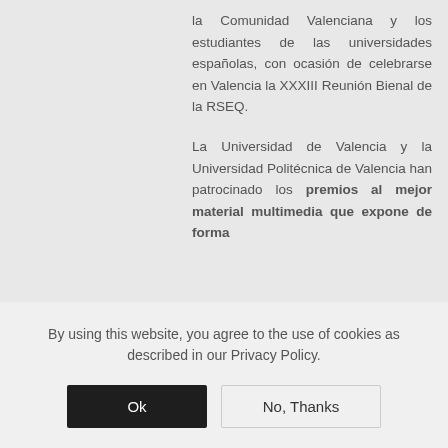la Comunidad Valenciana y los estudiantes de las universidades españolas, con ocasión de celebrarse en Valencia la XXXIII Reunión Bienal de la RSEQ.

La Universidad de Valencia y la Universidad Politécnica de Valencia han patrocinado los premios al mejor material multimedia que expone de forma
By using this website, you agree to the use of cookies as described in our Privacy Policy.